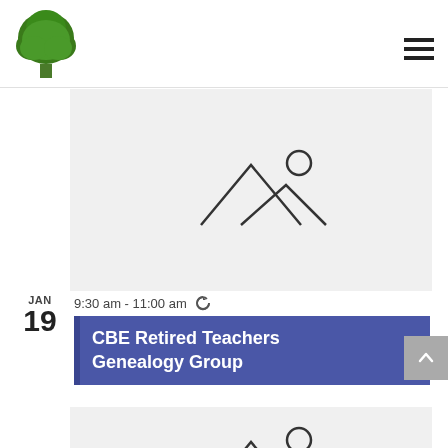[Figure (logo): Green tree logo in top left of header]
[Figure (other): Hamburger menu icon (three horizontal lines) in top right of header]
[Figure (illustration): Placeholder image icon showing two mountain triangles and a circle (sun), on light gray background]
9:30 am - 11:00 am
JAN
19
CBE Retired Teachers Genealogy Group
[Figure (illustration): Placeholder image icon showing two mountain triangles and a circle (sun), on light gray background]